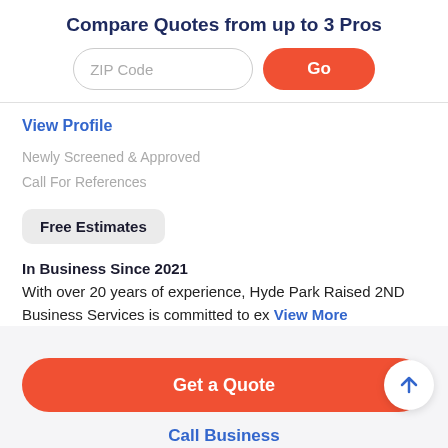Compare Quotes from up to 3 Pros
ZIP Code
Go
View Profile
Newly Screened & Approved
Call For References
Free Estimates
In Business Since 2021
With over 20 years of experience, Hyde Park Raised 2ND Business Services is committed to ex View More
Get a Quote
Call Business